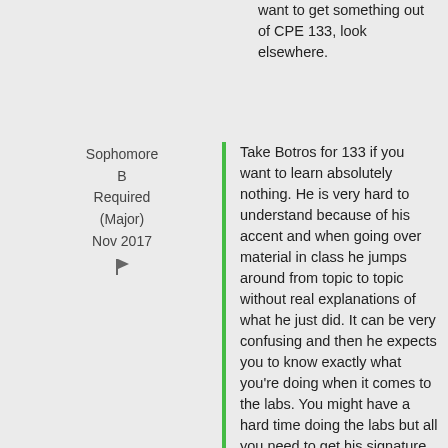want to get something out of CPE 133, look elsewhere.
Sophomore
B
Required (Major)
Nov 2017
Take Botros for 133 if you want to learn absolutely nothing. He is very hard to understand because of his accent and when going over material in class he jumps around from topic to topic without real explanations of what he just did. It can be very confusing and then he expects you to know exactly what you're doing when it comes to the labs. You might have a hard time doing the labs but all you need to get his signature and you can get 100 percent on all of them which is nice. He has you code programs in vhdl but never explains what you are doing so you end up copying down a bunch of random code with no idea what is happening and when it comes to office hours he still doesn't seem to know what he is doing. I ended up getting a B in this class but in no way did I feel like I learned anything and he screwed us all over for taking